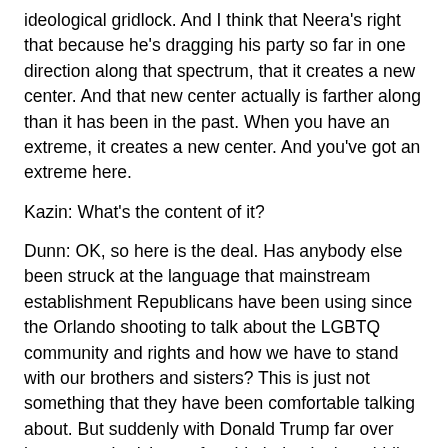ideological gridlock. And I think that Neera's right that because he's dragging his party so far in one direction along that spectrum, that it creates a new center. And that new center actually is farther along than it has been in the past. When you have an extreme, it creates a new center. And you've got an extreme here.
Kazin: What's the content of it?
Dunn: OK, so here is the deal. Has anybody else been struck at the language that mainstream establishment Republicans have been using since the Orlando shooting to talk about the LGBTQ community and rights and how we have to stand with our brothers and sisters? This is just not something that they have been comfortable talking about. But suddenly with Donald Trump far over here, everybody's comfortable being in the middle here on that issue, right? And that, to me, has been extraordinary.
Tanden: They're more in the middle because of him?
Thrush: Because he's pulled it away from ideology and into